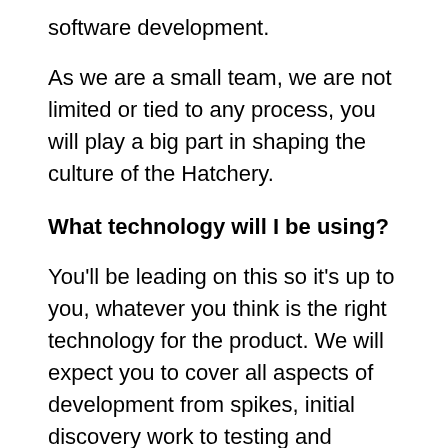software development.
As we are a small team, we are not limited or tied to any process, you will play a big part in shaping the culture of the Hatchery.
What technology will I be using?
You'll be leading on this so it's up to you, whatever you think is the right technology for the product. We will expect you to cover all aspects of development from spikes, initial discovery work to testing and release of products.